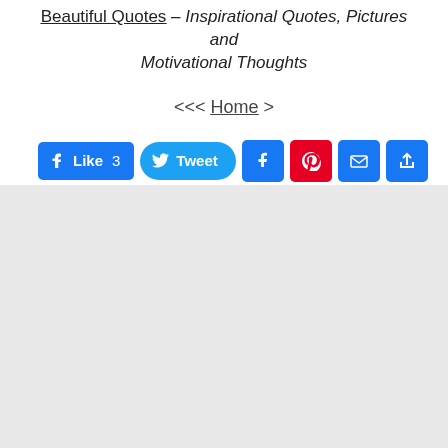Beautiful Quotes – Inspirational Quotes, Pictures and Motivational Thoughts
<<< Home >
[Figure (screenshot): Social sharing buttons: Facebook Like (3), Tweet, Facebook, Pinterest, Email, Share]
[Figure (other): Gray blank/placeholder content area]